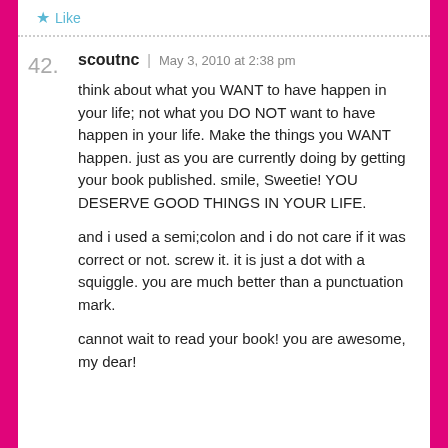Like
42.
scoutnc | May 3, 2010 at 2:38 pm
think about what you WANT to have happen in your life; not what you DO NOT want to have happen in your life. Make the things you WANT happen. just as you are currently doing by getting your book published. smile, Sweetie! YOU DESERVE GOOD THINGS IN YOUR LIFE.
and i used a semi;colon and i do not care if it was correct or not. screw it. it is just a dot with a squiggle. you are much better than a punctuation mark.
cannot wait to read your book! you are awesome, my dear!